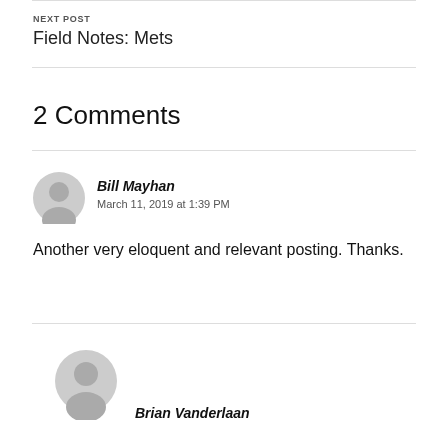NEXT POST
Field Notes: Mets
2 Comments
Bill Mayhan
March 11, 2019 at 1:39 PM
Another very eloquent and relevant posting. Thanks.
Brian Vanderlaan